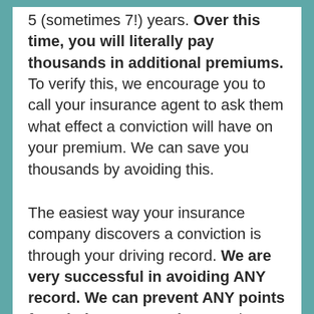5 (sometimes 7!) years. Over this time, you will literally pay thousands in additional premiums. To verify this, we encourage you to call your insurance agent to ask them what effect a conviction will have on your premium. We can save you thousands by avoiding this.
The easiest way your insurance company discovers a conviction is through your driving record. We are very successful in avoiding ANY record. We can prevent ANY points from being assessed. Recently, we've seen a push by some data-mining